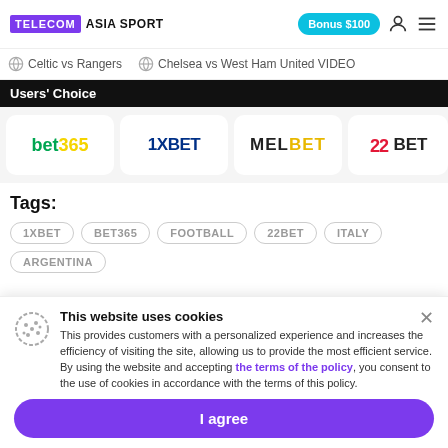TELECOM ASIA SPORT | Bonus $100
Celtic vs Rangers | Chelsea vs West Ham United VIDEO
Users' Choice
[Figure (logo): Row of betting site logos: bet365, 1XBET, MELBET, 22BET]
Tags:
1XBET
BET365
FOOTBALL
22BET
ITALY
ARGENTINA
This website uses cookies
This provides customers with a personalized experience and increases the efficiency of visiting the site, allowing us to provide the most efficient service. By using the website and accepting the terms of the policy, you consent to the use of cookies in accordance with the terms of this policy.
I agree